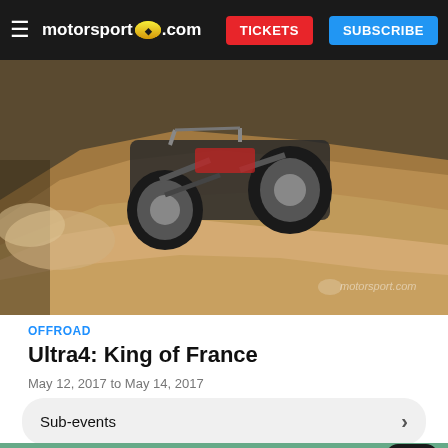motorsport.com  TICKETS  SUBSCRIBE
[Figure (photo): Off-road racing vehicle (buggy/truck) airborne over a dirt mound with dust clouds, close-up low-angle shot. Watermark: motorsport.com]
OFFROAD
Ultra4: King of France
May 12, 2017 to May 14, 2017
Sub-events
[Figure (photo): Partial view of outdoor scene with trees and sky, lower strip of second article image. Camera badge showing 11 photos.]
Belk.com - Belk® - Official Site
Shop for clothing, handbags, jewelry, beauty, home & more!
www.belk.com